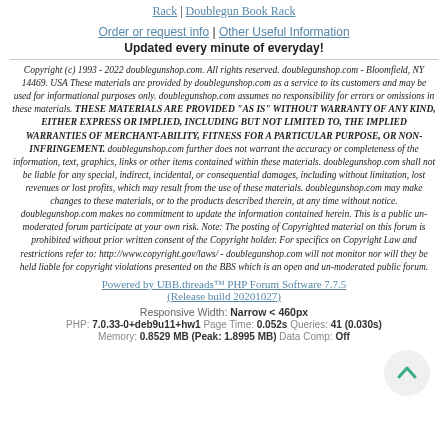Rack | Doublegun Book Rack
Order or request info | Other Useful Information
Updated every minute of everyday!
Copyright (c) 1993 - 2022 doublegunshop.com. All rights reserved. doublegunshop.com - Bloomfield, NY 14469. USA These materials are provided by doublegunshop.com as a service to its customers and may be used for informational purposes only. doublegunshop.com assumes no responsibility for errors or omissions in these materials. THESE MATERIALS ARE PROVIDED "AS IS" WITHOUT WARRANTY OF ANY KIND, EITHER EXPRESS OR IMPLIED, INCLUDING BUT NOT LIMITED TO, THE IMPLIED WARRANTIES OF MERCHANT-ABILITY, FITNESS FOR A PARTICULAR PURPOSE, OR NON-INFRINGEMENT. doublegunshop.com further does not warrant the accuracy or completeness of the information, text, graphics, links or other items contained within these materials. doublegunshop.com shall not be liable for any special, indirect, incidental, or consequential damages, including without limitation, lost revenues or lost profits, which may result from the use of these materials. doublegunshop.com may make changes to these materials, or to the products described therein, at any time without notice. doublegunshop.com makes no commitment to update the information contained herein. This is a public un-moderated forum participate at your own risk. Note: The posting of Copyrighted material on this forum is prohibited without prior written consent of the Copyright holder. For specifics on Copyright Law and restrictions refer to: http://www.copyright.gov/laws/ - doublegunshop.com will not monitor nor will they be held liable for copyright violations presented on the BBS which is an open and un-moderated public forum.
Powered by UBB.threads™ PHP Forum Software 7.7.5
(Release build 20201027)
Responsive Width: Narrow < 460px
PHP: 7.0.33-0+deb9u11+hw1 Page Time: 0.052s Queries: 41 (0.030s)
Memory: 0.8529 MB (Peak: 1.8995 MB) Data Comp: Off